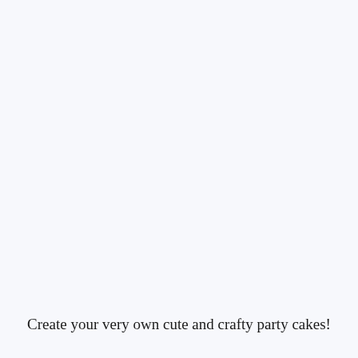Create your very own cute and crafty party cakes!